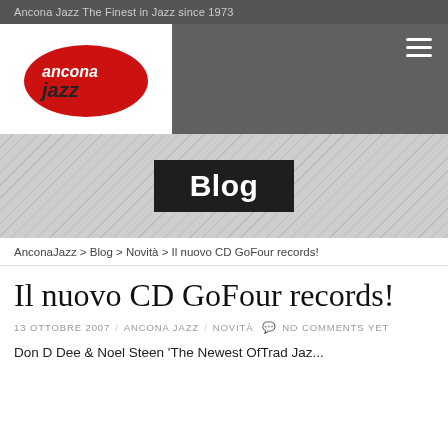Ancona Jazz The Finest in Jazz since 1973
[Figure (logo): Ancona Jazz logo: red oval with white and dark text 'anconajazz']
Blog
AnconaJazz > Blog > Novità > Il nuovo CD GoFour records!
Il nuovo CD GoFour records!
13 OTTOBRE 2007 / ANCONA JAZZ / NOVITÀ  NO COMMENTS YET
Don D Dee & Noel Steen 'The Newest OfTrad Jazz...